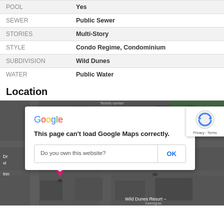| Property | Value |
| --- | --- |
| POOL | Yes |
| SEWER | Public Sewer |
| STORIES | Multi-Story |
| STYLE | Condo Regime, Condominium |
| SUBDIVISION | Wild Dunes |
| WATER | Public Water |
Location
[Figure (map): Google Maps embed showing Wild Dunes Resort area with a Google Maps error dialog: 'This page can't load Google Maps correctly.' with a 'Do you own this website?' prompt and OK button, and reCAPTCHA badge in top right corner.]